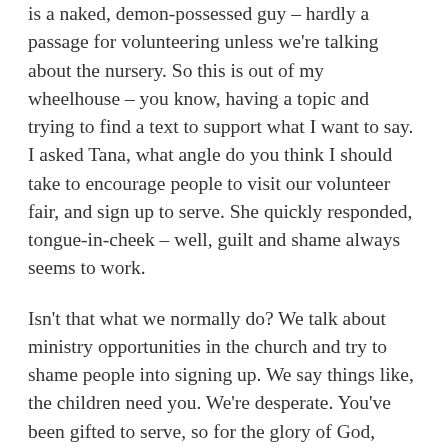is a naked, demon-possessed guy – hardly a passage for volunteering unless we're talking about the nursery. So this is out of my wheelhouse – you know, having a topic and trying to find a text to support what I want to say. I asked Tana, what angle do you think I should take to encourage people to visit our volunteer fair, and sign up to serve. She quickly responded, tongue-in-cheek – well, guilt and shame always seems to work.
Isn't that what we normally do? We talk about ministry opportunities in the church and try to shame people into signing up. We say things like, the children need you. We're desperate. You've been gifted to serve, so for the glory of God, serve! And some of those things are true. Service is an act of obedience. We do need you. After all, Paul likens the church family to a body – that is, hands and feet, eyes and ears. And we each have our functions